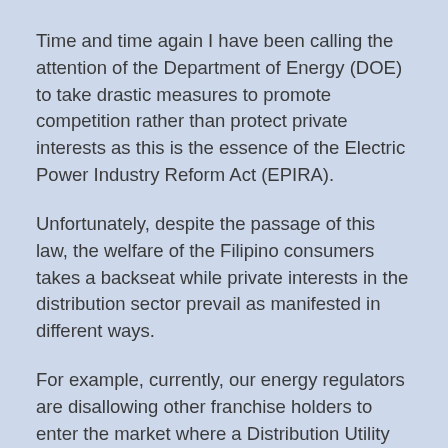Time and time again I have been calling the attention of the Department of Energy (DOE) to take drastic measures to promote competition rather than protect private interests as this is the essence of the Electric Power Industry Reform Act (EPIRA).
Unfortunately, despite the passage of this law, the welfare of the Filipino consumers takes a backseat while private interests in the distribution sector prevail as manifested in different ways.
For example, currently, our energy regulators are disallowing other franchise holders to enter the market where a Distribution Utility (DU) is already in place, which against runs counter to the essence of promoting competition.